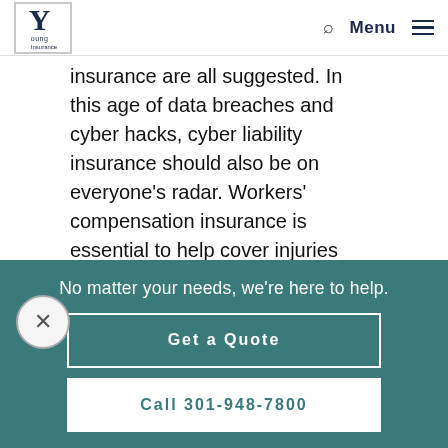Young Insurance - navigation header with logo, search, Menu
insurance are all suggested. In this age of data breaches and cyber hacks, cyber liability insurance should also be on everyone’s radar. Workers’ compensation insurance is essential to help cover injuries employees may sustain while on the job. If your
No matter your needs, we're here to help.
Get a Quote
Call 301-948-7800